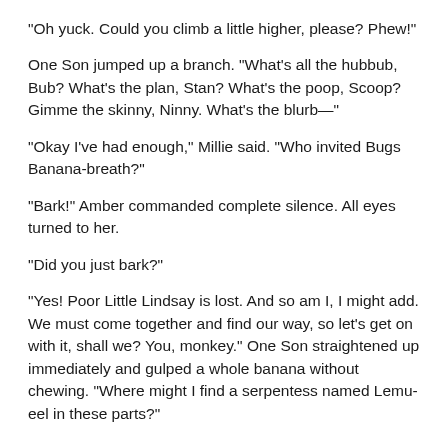“Oh yuck. Could you climb a little higher, please? Phew!”
One Son jumped up a branch. “What’s all the hubbub, Bub? What’s the plan, Stan? What’s the poop, Scoop? Gimme the skinny, Ninny. What’s the blurb—”
“Okay I’ve had enough,” Millie said. “Who invited Bugs Banana-breath?”
“Bark!” Amber commanded complete silence. All eyes turned to her.
“Did you just bark?”
“Yes! Poor Little Lindsay is lost. And so am I, I might add. We must come together and find our way, so let’s get on with it, shall we? You, monkey.” One Son straightened up immediately and gulped a whole banana without chewing. “Where might I find a serpentess named Lemu-eel in these parts?”